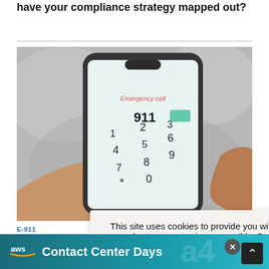Kari's Law and RAY BAUM'S Act are going into effect. Do you have your compliance strategy mapped out?
[Figure (photo): A hand holding a smartphone showing an emergency call dialer screen with 911 entered]
E-911
Is Your Microsoft Teams E-911 Ready?
Irwin Laz...
Enhance... as well as available SIP t... few
This site uses cookies to provide you with the best user experience possible. By
aws Contact Center Days